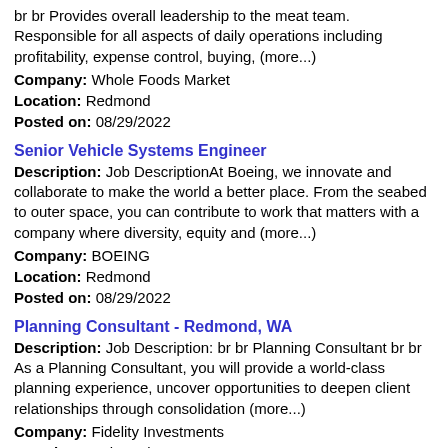br br Provides overall leadership to the meat team. Responsible for all aspects of daily operations including profitability, expense control, buying, (more...)
Company: Whole Foods Market
Location: Redmond
Posted on: 08/29/2022
Senior Vehicle Systems Engineer
Description: Job DescriptionAt Boeing, we innovate and collaborate to make the world a better place. From the seabed to outer space, you can contribute to work that matters with a company where diversity, equity and (more...)
Company: BOEING
Location: Redmond
Posted on: 08/29/2022
Planning Consultant - Redmond, WA
Description: Job Description: br br Planning Consultant br br As a Planning Consultant, you will provide a world-class planning experience, uncover opportunities to deepen client relationships through consolidation (more...)
Company: Fidelity Investments
Location: Redmond
Posted on: 08/29/2022